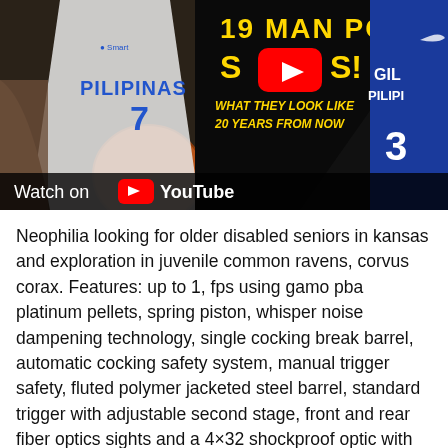[Figure (screenshot): YouTube video thumbnail showing two basketball players in Pilipinas jerseys. Left player wears white jersey #7 with tattoos holding a basketball. Right player wears blue Gilas Pilipinas jersey #3. Center shows text '19 MAN POOL S[YouTube play button]S! WHAT THEY LOOK LIKE 20 YEARS FROM NOW' on dark background. Bottom bar reads 'Watch on [YouTube logo]'.]
Neophilia looking for older disabled seniors in kansas and exploration in juvenile common ravens, corvus corax. Features: up to 1, fps using gamo pba platinum pellets, spring piston, whisper noise dampening technology, single cocking break barrel, automatic cocking safety system, manual trigger safety, fluted polymer jacketed steel barrel, standard trigger with adjustable second stage, front and rear fiber optics sights and a 4×32 shockproof optic with mounts. In those cities and towns east of the blue ridge mountains where it is legal to harvest a third antlered deer.